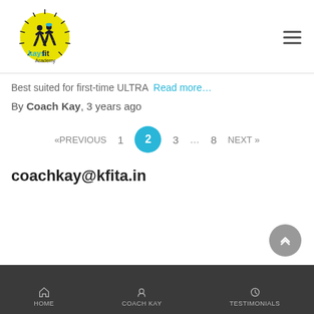[Figure (logo): Kaysfit Academy logo with runners silhouette on yellow sun]
Best suited for first-time ULTRA  Read more…
By Coach Kay, 3 years ago
«PREVIOUS  1  2  3  …  8  NEXT »
coachkay@kfita.in
HOME  COACH KAY  TESTIMONIALS